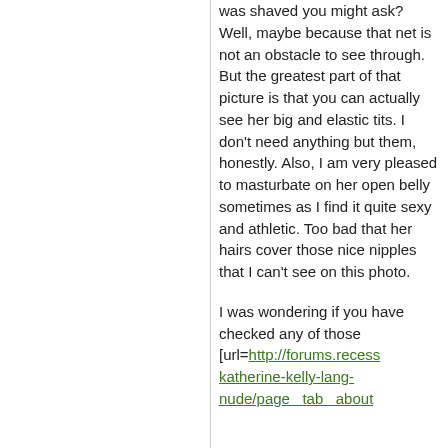was shaved you might ask? Well, maybe because that net is not an obstacle to see through. But the greatest part of that picture is that you can actually see her big and elastic tits. I don't need anything but them, honestly. Also, I am very pleased to masturbate on her open belly sometimes as I find it quite sexy and athletic. Too bad that her hairs cover those nice nipples that I can't see on this photo.
I was wondering if you have checked any of those [url=http://forums.recess katherine-kelly-lang-nude/page tab about